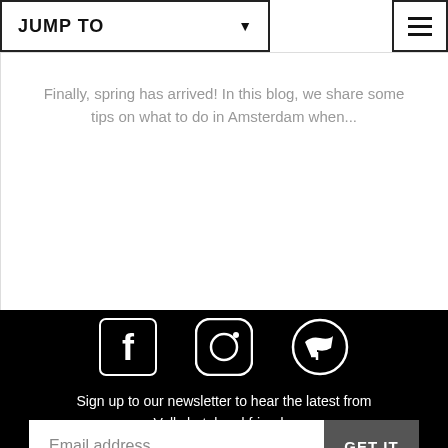JUMP TO
Finally, spring has arrived! In this blog, we share some tips on what to do in Amsterdam when...
HOTSPOTS
[Figure (logo): Social media icons: Facebook, Instagram, Spotify on black background]
Sign up to our newsletter to hear the latest from Volkshotel and friends.
Email address
GET IT